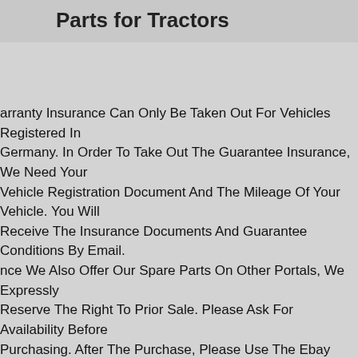Parts for Tractors
arranty Insurance Can Only Be Taken Out For Vehicles Registered In Germany. In Order To Take Out The Guarantee Insurance, We Need Your Vehicle Registration Document And The Mileage Of Your Vehicle. You Will Receive The Insurance Documents And Guarantee Conditions By Email. nce We Also Offer Our Spare Parts On Other Portals, We Expressly Reserve The Right To Prior Sale. Please Ask For Availability Before Purchasing. After The Purchase, Please Use The Ebay Checkout Process nd Enter Your Delivery Address And Telephone Number. On. You Can Pay r Bank Transfer Or Paypal (buyer Protection).
olf Vii R 5g 4-wheel Audi Tts Tt 8s 2.0tfsi 6 Speed Manual Srd 02q300052s eber-cars Gmbh Here You Can Find Spare Parts For Your Audi, Vw Or mw At Fair Prices 3,000 Square Meters Of Storage Space Shipping National & International We Work With The Following Partners Worldwide Payment Methods Original Audi Tt 8s Vw Golf Vii R 2.0tfsi 6-speed Manual Transmission 721722 Gearbox Identification Letters Code "srd" The Article Is In Good Condition After 6.718km Year Of Construction 2018 And Is Available From Audi In The Parts Catalog Under Part Number 02q300052s And